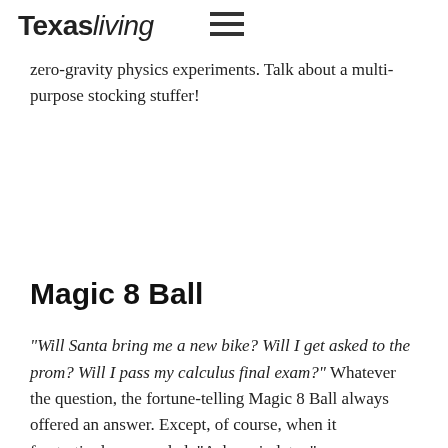Texas living
down flights of stairs becomes exhausting, Slinkys can also be used to make music, as radio antennas, and for zero-gravity physics experiments. Talk about a multi-purpose stocking stuffer!
Magic 8 Ball
“Will Santa bring me a new bike? Will I get asked to the prom? Will I pass my calculus final exam?” Whatever the question, the fortune-telling Magic 8 Ball always offered an answer. Except, of course, when it frustratingly responded, “Ask again later.”
Slap Bracelets